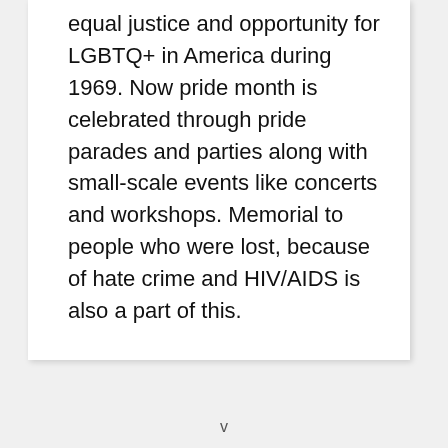equal justice and opportunity for LGBTQ+ in America during 1969. Now pride month is celebrated through pride parades and parties along with small-scale events like concerts and workshops. Memorial to people who were lost, because of hate crime and HIV/AIDS is also a part of this.
v